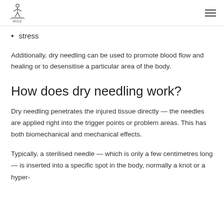MGS logo and navigation
stress
Additionally, dry needling can be used to promote blood flow and healing or to desensitise a particular area of the body.
How does dry needling work?
Dry needling penetrates the injured tissue directly — the needles are applied right into the trigger points or problem areas. This has both biomechanical and mechanical effects.
Typically, a sterilised needle — which is only a few centimetres long — is inserted into a specific spot in the body, normally a knot or a hyper-